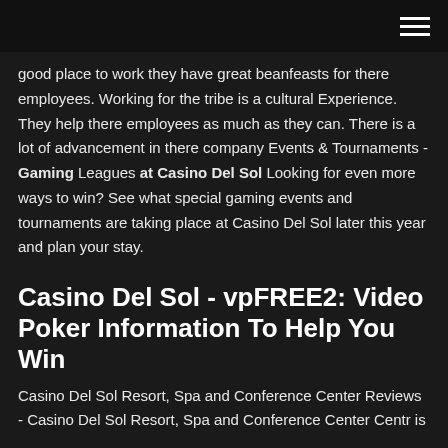good place to work they have great beanfeasts for there employees. Working for the tribe is a cultural Experience. They help there employees as much as they can. There is a lot of advancement in there company Events & Tournaments - Gaming Leagues at Casino Del Sol Looking for even more ways to win? See what special gaming events and tournaments are taking place at Casino Del Sol later this year and plan your stay.
Casino Del Sol - vpFREE2: Video Poker Information To Help You Win
Casino Del Sol Resort, Spa and Conference Center Reviews - Casino Del Sol Resort, Spa and Conference Center Centr is